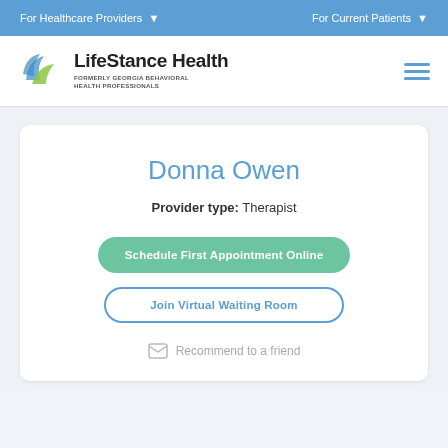For Healthcare Providers  ▾    For Current Patients  ▾
[Figure (logo): LifeStance Health logo with blue and green bird/leaf emblem]
LifeStance Health
FORMERLY GEORGIA BEHAVIORAL HEALTH PROFESSIONALS
Donna Owen
Provider type: Therapist
Schedule First Appointment Online
Join Virtual Waiting Room
Recommend to a friend